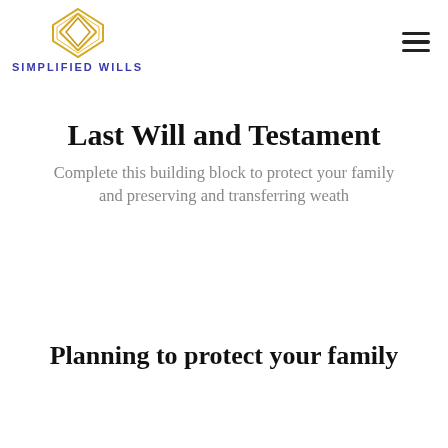SIMPLIFIED WILLS
Last Will and Testament
Complete this building block to protect your family and preserving and transferring weath
Planning to protect your family